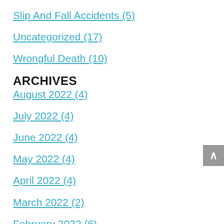Slip And Fall Accidents (5)
Uncategorized (17)
Wrongful Death (10)
ARCHIVES
August 2022 (4)
July 2022 (4)
June 2022 (4)
May 2022 (4)
April 2022 (4)
March 2022 (2)
February 2022 (6)
January 2022 (4)